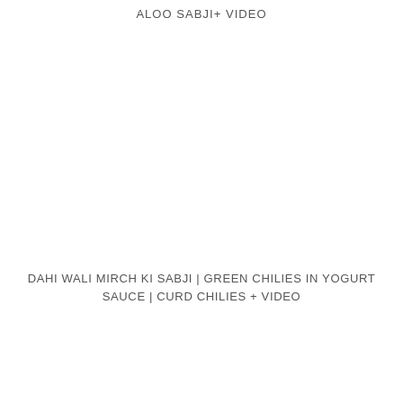ALOO SABJI+ VIDEO
DAHI WALI MIRCH KI SABJI | GREEN CHILIES IN YOGURT SAUCE | CURD CHILIES + VIDEO